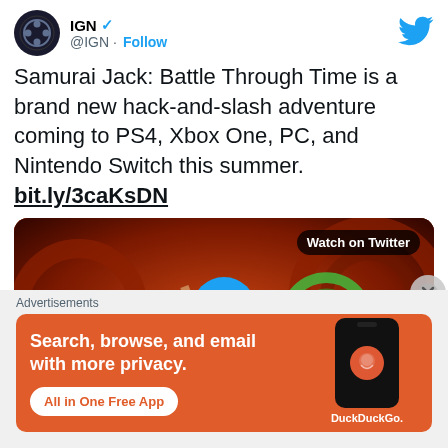[Figure (screenshot): IGN Twitter profile avatar - dark circle with game controller icon]
IGN ✓ @IGN · Follow
[Figure (logo): Twitter bird logo in blue]
Samurai Jack: Battle Through Time is a brand new hack-and-slash adventure coming to PS4, Xbox One, PC, and Nintendo Switch this summer. bit.ly/3caKsDN
[Figure (screenshot): Samurai Jack game art video thumbnail with Watch on Twitter label and blue play button]
Advertisements
[Figure (screenshot): DuckDuckGo advertisement banner - Search, browse, and email with more privacy. All in One Free App. Shows phone with DuckDuckGo logo.]